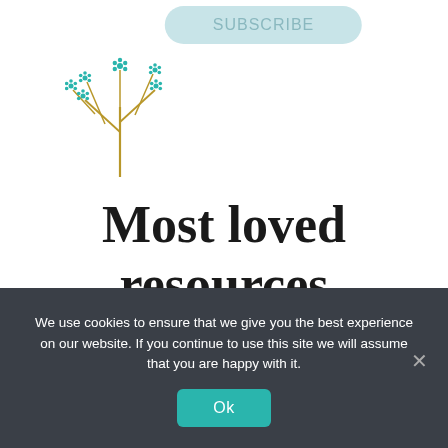[Figure (logo): Floral branch logo with teal star-shaped flowers and golden stem]
Most loved resources
We use cookies to ensure that we give you the best experience on our website. If you continue to use this site we will assume that you are happy with it.
Ok